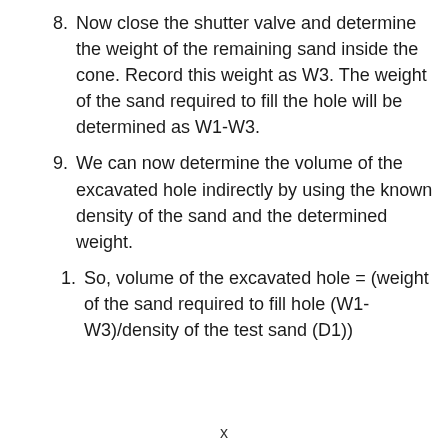8. Now close the shutter valve and determine the weight of the remaining sand inside the cone. Record this weight as W3. The weight of the sand required to fill the hole will be determined as W1-W3.
9. We can now determine the volume of the excavated hole indirectly by using the known density of the sand and the determined weight.
1. So, volume of the excavated hole = (weight of the sand required to fill hole (W1-W3)/density of the test sand (D1))
x